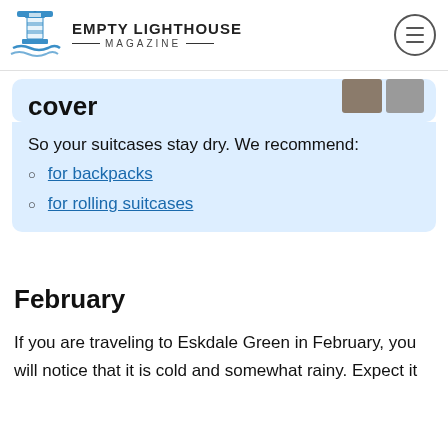EMPTY LIGHTHOUSE MAGAZINE
cover
So your suitcases stay dry. We recommend:
for backpacks
for rolling suitcases
February
If you are traveling to Eskdale Green in February, you will notice that it is cold and somewhat rainy. Expect it